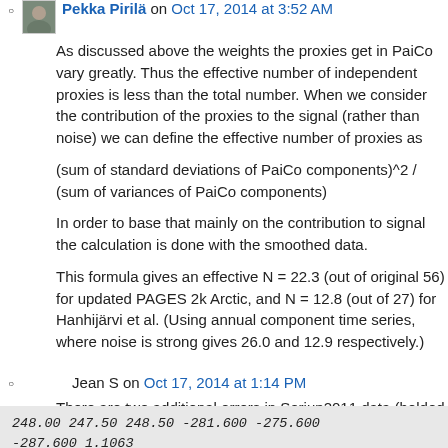Pekka Pirilä on Oct 17, 2014 at 3:52 AM
As discussed above the weights the proxies get in PaiCo vary greatly. Thus the effective number of independent proxies is less than the total number. When we consider the contribution of the proxies to the signal (rather than noise) we can define the effective number of proxies as
(sum of standard deviations of PaiCo components)^2 / (sum of variances of PaiCo components)
In order to base that mainly on the contribution to signal the calculation is done with the smoothed data.
This formula gives an effective N = 22.3 (out of original 56) for updated PAGES 2k Arctic, and N = 12.8 (out of 27) for Hanhijärvi et al. (Using annual component time series, where noise is strong gives 26.0 and 12.9 respectively.)
Jean S on Oct 17, 2014 at 1:14 PM
There are two additional errors in Serjup2011 data (bolded lines):
248.00 247.50 248.50 -281.600 -275.600 -287.600 1.1063
249.00 248.50 249.50 -293.600 -287.600